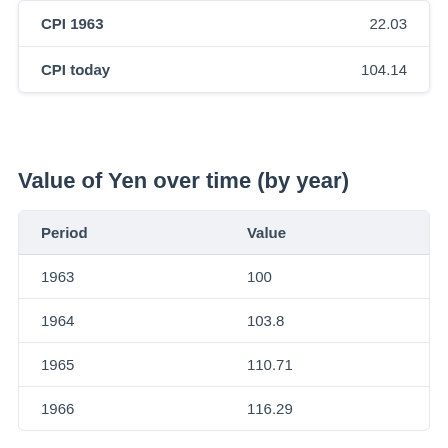|  |  |
| --- | --- |
| CPI 1963 | 22.03 |
| CPI today | 104.14 |
Value of Yen over time (by year)
| Period | Value |
| --- | --- |
| 1963 | 100 |
| 1964 | 103.8 |
| 1965 | 110.71 |
| 1966 | 116.29 |